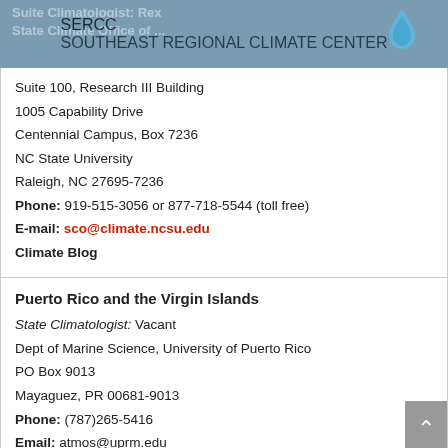[Figure (logo): SERCC Southeast Regional Climate Center logo with blue water droplet icon]
Suite Climatologist: Rex
State Climate Office of ...
Suite 100, Research III Building
1005 Capability Drive
Centennial Campus, Box 7236
NC State University
Raleigh, NC 27695-7236
Phone: 919-515-3056 or 877-718-5544 (toll free)
E-mail: sco@climate.ncsu.edu
Climate Blog
Puerto Rico and the Virgin Islands
State Climatologist: Vacant
Dept of Marine Science, University of Puerto Rico
PO Box 9013
Mayaguez, PR 00681-9013
Phone: (787)265-5416
Email: atmos@uprm.edu